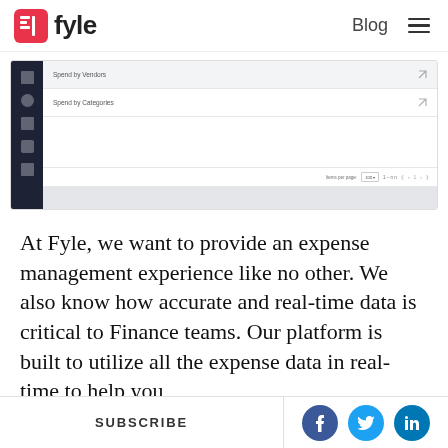Fyle | Blog
[Figure (screenshot): Fyle platform dashboard screenshot showing 'Spend by Vendors' and 'Spend by Categories' rows with a dark sidebar navigation and pagination controls]
At Fyle, we want to provide an expense management experience like no other. We also know how accurate and real-time data is critical to Finance teams. Our platform is built to utilize all the expense data in real-time to help you
SUBSCRIBE